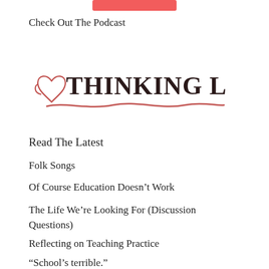[Figure (logo): Red/pink rounded rectangle button at top center of page]
Check Out The Podcast
[Figure (logo): Thinking Love podcast logo: cursive heart symbol followed by bold handwritten text 'THINKING LOVE' with a wavy underline stroke in reddish-brown]
Read The Latest
Folk Songs
Of Course Education Doesn't Work
The Life We're Looking For (Discussion Questions)
Reflecting on Teaching Practice
“School’s terrible.”